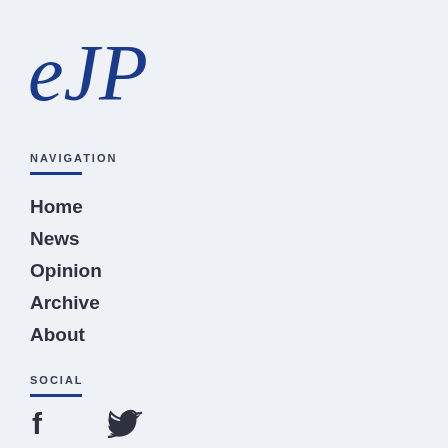[Figure (logo): eJP logo in blue serif italic font]
NAVIGATION
Home
News
Opinion
Archive
About
SOCIAL
[Figure (illustration): Facebook and Twitter social media icons]